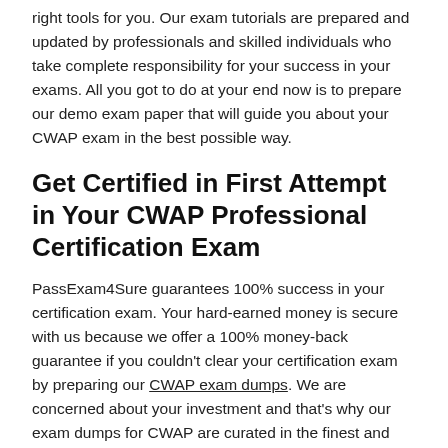right tools for you. Our exam tutorials are prepared and updated by professionals and skilled individuals who take complete responsibility for your success in your exams. All you got to do at your end now is to prepare our demo exam paper that will guide you about your CWAP exam in the best possible way.
Get Certified in First Attempt in Your CWAP Professional Certification Exam
PassExam4Sure guarantees 100% success in your certification exam. Your hard-earned money is secure with us because we offer a 100% money-back guarantee if you couldn't clear your certification exam by preparing our CWAP exam dumps. We are concerned about your investment and that's why our exam dumps for CWAP are curated in the finest and up-to-date format for your complete guidance. You will get free downloadable updates against your purchase of this certification exam test. If questions of CWAP exam changes, our support team will ping you and update you about the new course content.